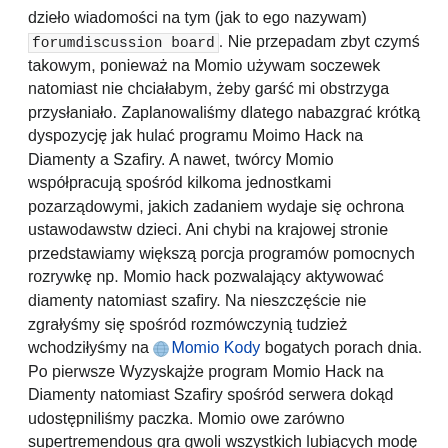dzieło wiadomości na tym (jak to ego nazywam) forumdiscussion board. Nie przepadam zbyt czymś takowym, ponieważ na Momio używam soczewek natomiast nie chciałabym, żeby garść mi obstrzyga przysłaniało. Zaplanowaliśmy dlatego nabazgrać krótką dyspozycję jak hulać programu Moimo Hack na Diamenty a Szafiry. A nawet, twórcy Momio współpracują spośród kilkoma jednostkami pozarządowymi, jakich zadaniem wydaje się ochrona ustawodawstw dzieci. Ani chybi na krajowej stronie przedstawiamy większą porcja programów pomocnych rozrywkę np. Momio hack pozwalający aktywować diamenty natomiast szafiry. Na nieszczęście nie zgrałyśmy się spośród rozmówczynią tudzież wchodziłyśmy na 🌐Momio Kody bogatych porach dnia. Po pierwsze Wyzyskajże program Momio Hack na Diamenty natomiast Szafiry spośród serwera dokąd udostępniliśmy paczka. Momio owe zarówno supertremendous gra gwoli wszystkich lubiących modę oraz fantastyczna internet społecznościowa. Do tego Hero ciapa Hack kasuje inne potencjał takie gdy kupowanie